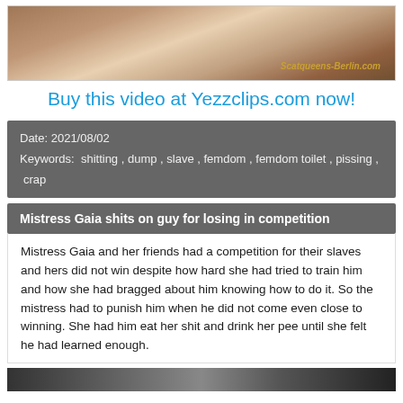[Figure (photo): Photo with watermark text 'Scatqueens-Berlin.com']
Buy this video at Yezzclips.com now!
Date: 2021/08/02
Keywords: shitting , dump , slave , femdom , femdom toilet , pissing , crap
Mistress Gaia shits on guy for losing in competition
Mistress Gaia and her friends had a competition for their slaves and hers did not win despite how hard she had tried to train him and how she had bragged about him knowing how to do it. So the mistress had to punish him when he did not come even close to winning. She had him eat her shit and drink her pee until she felt he had learned enough.
[Figure (photo): Bottom photo strip]